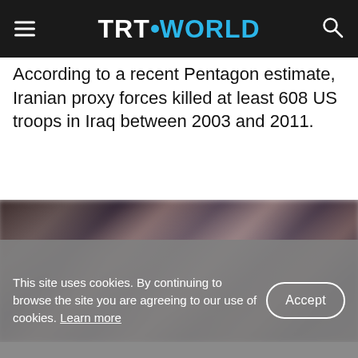TRT WORLD
According to a recent Pentagon estimate, Iranian proxy forces killed at least 608 US troops in Iraq between 2003 and 2011.
[Figure (photo): Blurred photograph showing a group of people, likely military or conflict-related scene, dark and muted tones]
This site uses cookies. By continuing to browse the site you are agreeing to our use of cookies. Learn more